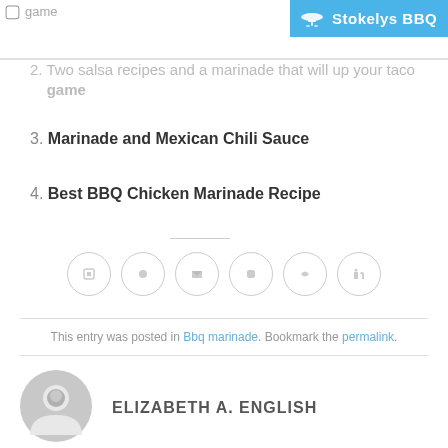[Figure (logo): Stokelys BBQ logo with grill icon on blue background]
2. Two salsa recipes and a marinade that will up your taco game
3. Marinade and Mexican Chili Sauce
4. Best BBQ Chicken Marinade Recipe
[Figure (other): Six circular social media sharing icon buttons]
This entry was posted in Bbq marinade. Bookmark the permalink.
ELIZABETH A. ENGLISH